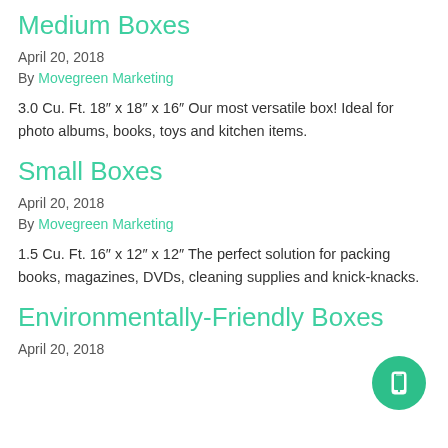Medium Boxes
April 20, 2018
By Movegreen Marketing
3.0 Cu. Ft. 18″ x 18″ x 16″ Our most versatile box! Ideal for photo albums, books, toys and kitchen items.
Small Boxes
April 20, 2018
By Movegreen Marketing
1.5 Cu. Ft. 16″ x 12″ x 12″ The perfect solution for packing books, magazines, DVDs, cleaning supplies and knick-knacks.
Environmentally-Friendly Boxes
April 20, 2018